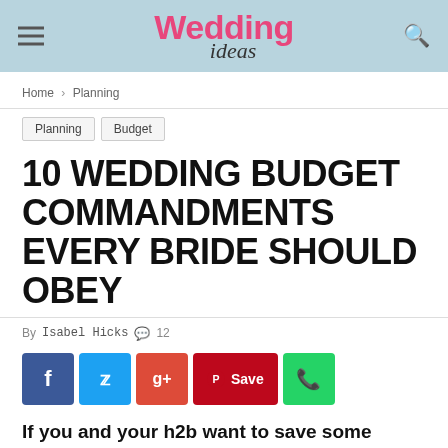Wedding ideas
Home › Planning
Planning  Budget
10 WEDDING BUDGET COMMANDMENTS EVERY BRIDE SHOULD OBEY
By Isabel Hicks  💬 12
[Figure (infographic): Social sharing buttons: Facebook, Twitter, Google+, Pinterest Save, WhatsApp]
If you and your h2b want to save some serious cash on your wedding day – and let's face it, why wouldn't you?! – then